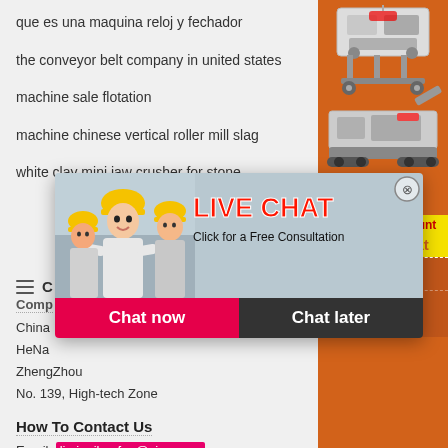que es una maquina reloj y fechador
the conveyor belt company in united states
machine sale flotation
machine chinese vertical roller mill slag
white clay mini jaw crusher for stone
[Figure (screenshot): Live chat popup with workers in hard hats, LIVE CHAT heading in red, Click for a Free Consultation subtitle, Chat now and Chat later buttons]
[Figure (infographic): Right sidebar orange advertisement showing mining/crushing machinery images, Enjoy 3% discount bar, Click to Chat button, Enquiry section, limingjlmofen@sina.com email]
Company
China
HeNa
ZhengZhou
No. 139, High-tech Zone
How To Contact Us
Email: limingjlmofen@sina.com
Phone: +86 (0371)8654 9132
Office Hours